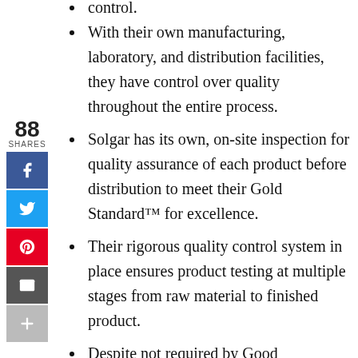control.
With their own manufacturing, laboratory, and distribution facilities, they have control over quality throughout the entire process.
Solgar has its own, on-site inspection for quality assurance of each product before distribution to meet their Gold Standard™ for excellence.
Their rigorous quality control system in place ensures product testing at multiple stages from raw material to finished product.
Despite not required by Good Manufacturing Practices (GMPs) they have one of the finest water filtrations